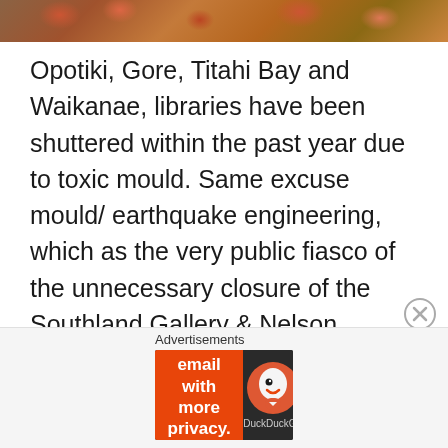[Figure (photo): Partial view of an image showing a textured surface with orange and brown tones, appears to be an animal or natural texture]
Opotiki, Gore, Titahi Bay and Waikanae, libraries have been shuttered within the past year due to toxic mould. Same excuse mould/ earthquake engineering, which as the very public fiasco of the unnecessary closure of the Southland Gallery & Nelson Trafalgar centre on the basis on nonexistent structural weakness show (both closed by bureaucrat Clare Hadley in both cases) was an utter fiction of convenience.
Advertisements
[Figure (screenshot): DuckDuckGo advertisement banner: 'Search, browse, and email with more privacy. All in One Free App' with DuckDuckGo logo on dark background]